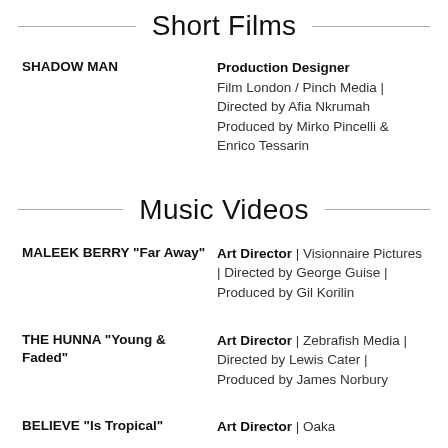Short Films
SHADOW MAN | Production Designer | Film London / Pinch Media | Directed by Afia Nkrumah | Produced by Mirko Pincelli & Enrico Tessarin
Music Videos
MALEEK BERRY "Far Away" | Art Director | Visionnaire Pictures | Directed by George Guise | Produced by Gil Korilin
THE HUNNA "Young & Faded" | Art Director | Zebrafish Media | Directed by Lewis Cater | Produced by James Norbury
BELIEVE "Is Tropical" | Art Director | Oaka